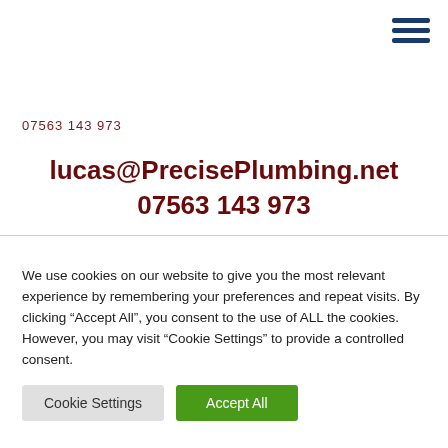[Figure (other): Hamburger menu icon with three dark blue horizontal bars]
07563 143 973
lucas@PrecisePlumbing.net
07563 143 973
We use cookies on our website to give you the most relevant experience by remembering your preferences and repeat visits. By clicking “Accept All”, you consent to the use of ALL the cookies. However, you may visit "Cookie Settings" to provide a controlled consent.
Cookie Settings
Accept All